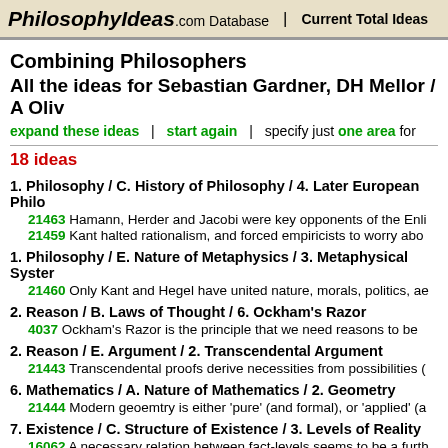PhilosophyIdeas.com Database | Current Total Ideas
Combining Philosophers
All the ideas for Sebastian Gardner, DH Mellor / A Oliv...
expand these ideas | start again | specify just one area for...
18 ideas
1. Philosophy / C. History of Philosophy / 4. Later European Philo...
21463 Hamann, Herder and Jacobi were key opponents of the Enli...
21459 Kant halted rationalism, and forced empiricists to worry abo...
1. Philosophy / E. Nature of Metaphysics / 3. Metaphysical Syster...
21460 Only Kant and Hegel have united nature, morals, politics, ae...
2. Reason / B. Laws of Thought / 6. Ockham's Razor
4037 Ockham's Razor is the principle that we need reasons to be...
2. Reason / E. Argument / 2. Transcendental Argument
21443 Transcendental proofs derive necessities from possibilities (...
6. Mathematics / A. Nature of Mathematics / 2. Geometry
21444 Modern geoemtry is either 'pure' (and formal), or 'applied' (a...
7. Existence / C. Structure of Existence / 3. Levels of Reality
16062 A necessary relation between fact-levels seems to be a furth...